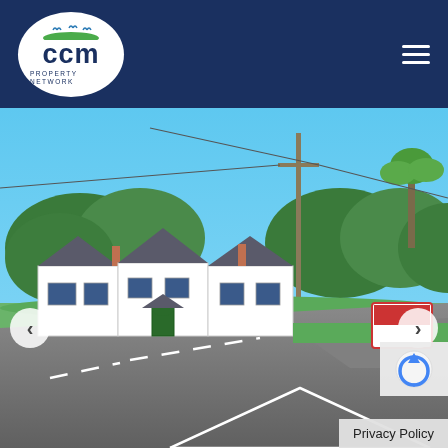[Figure (logo): CCM Property Network logo — white oval with blue text 'ccm' and 'PROPERTY NETWORK' on a dark navy header background]
[Figure (photo): Exterior photograph of a white-rendered detached/semi-detached property beside a rural road junction on a sunny day, with trees in the background. Navigation arrows visible on left and right sides of image. A reCAPTCHA badge and Privacy Policy label appear in the bottom-right corner.]
Privacy Policy